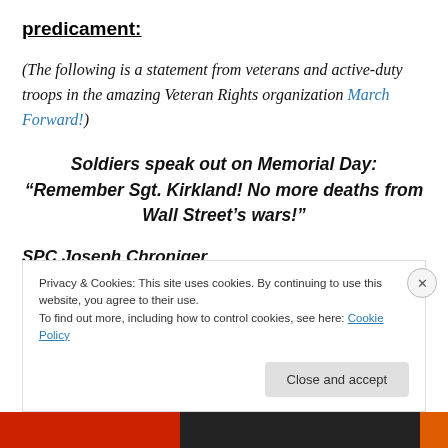predicament:
(The following is a statement from veterans and active-duty troops in the amazing Veteran Rights organization March Forward!)
Soldiers speak out on Memorial Day: “Remember Sgt. Kirkland! No more deaths from Wall Street’s wars!”
SPC Joseph Chroniger
“My good friend Derrick Kirkland was deployed to Iraq and was going through more than just a difficult time. He was
Privacy & Cookies: This site uses cookies. By continuing to use this website, you agree to their use.
To find out more, including how to control cookies, see here: Cookie Policy